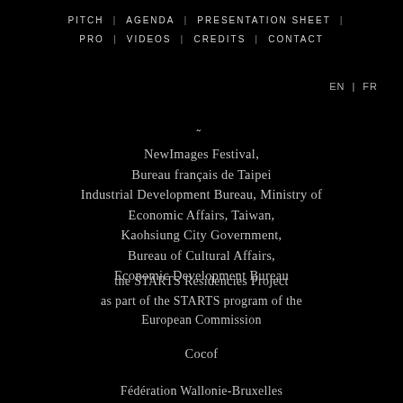PITCH | AGENDA | PRESENTATION SHEET | PRO | VIDEOS | CREDITS | CONTACT
EN | FR
NewImages Festival, Bureau français de Taipei Industrial Development Bureau, Ministry of Economic Affairs, Taiwan, Kaohsiung City Government, Bureau of Cultural Affairs, Economic Development Bureau
the STARTS Residencies Project as part of the STARTS program of the European Commission
Cocof
Fédération Wallonie-Bruxelles